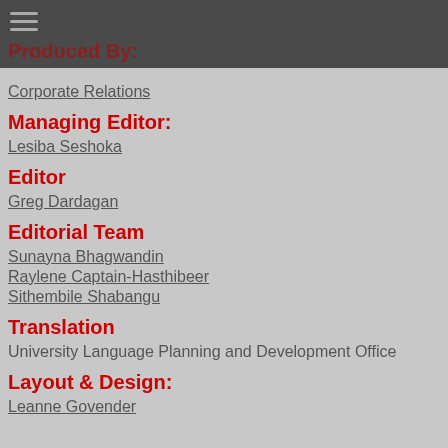Produced By:
Corporate Relations
Managing Editor:
Lesiba Seshoka
Editor
Greg Dardagan
Editorial Team
Sunayna Bhagwandin
Raylene Captain-Hasthibeer
Sithembile Shabangu
Translation
University Language Planning and Development Office
Layout & Design:
Leanne Govender